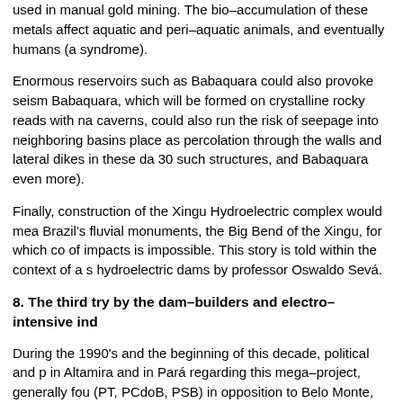used in manual gold mining. The bio–accumulation of these metals affect aquatic and peri–aquatic animals, and eventually humans (a syndrome).
Enormous reservoirs such as Babaquara could also provoke seism Babaquara, which will be formed on crystalline rocky reads with na caverns, could also run the risk of seepage into neighboring basins place as percolation through the walls and lateral dikes in these da 30 such structures, and Babaquara even more).
Finally, construction of the Xingu Hydroelectric complex would mea Brazil's fluvial monuments, the Big Bend of the Xingu, for which co of impacts is impossible. This story is told within the context of a s hydroelectric dams by professor Oswaldo Sevá.
8. The third try by the dam–builders and electro–intensive ind
During the 1990's and the beginning of this decade, political and p in Altamira and in Pará regarding this mega–project, generally fou (PT, PCdoB, PSB) in opposition to Belo Monte, with local and regio federal government (PMDB and PSDB) in favor.
In 2001 and 2002, all who followed the situation felt that a victory